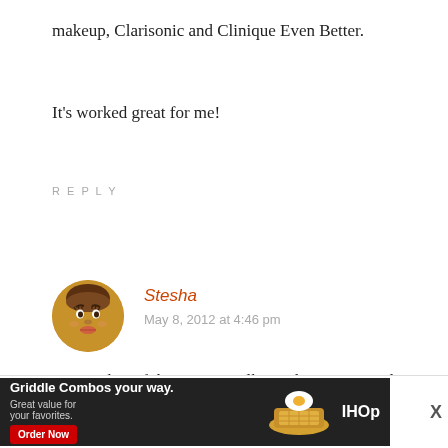makeup, Clarisonic and Clinique Even Better.
It's worked great for me!
REPLY
[Figure (illustration): Circular avatar icon of a stylized cartoon woman with brown skin and dark eyes]
Stesha
May 8, 2012 at 4:46 pm
I a member of the Grown Folks With Acne struggle. These days I'm trying more natural remedies. Lemon juice to fade scars. Brown Sugar and Honey scrubs. And of course, drinking more water. It's been a couple of weeks and I already see results.
[Figure (photo): IHOP advertisement banner: Griddle Combos your way. Great value for your favorites. Order Now button. IHOP logo with food imagery.]